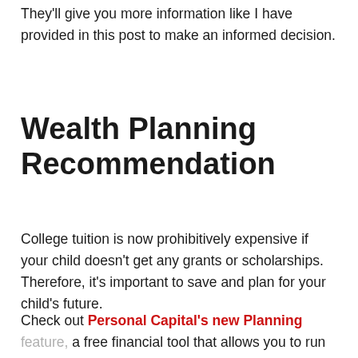They'll give you more information like I have provided in this post to make an informed decision.
Wealth Planning Recommendation
College tuition is now prohibitively expensive if your child doesn't get any grants or scholarships. Therefore, it's important to save and plan for your child's future.
Check out Personal Capital's new Planning feature, a free financial tool that allows you to run various financial scenarios to make sure your…